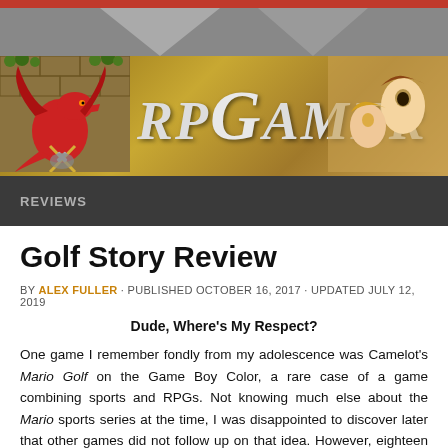[Figure (illustration): RPGamer website header banner with dragon mascot on left, RPGamer logo text in center, and anime-style artwork on right, over a stone/brick texture background. Red bar at top, gray decorative band below.]
REVIEWS
Golf Story Review
BY ALEX FULLER · PUBLISHED OCTOBER 16, 2017 · UPDATED JULY 12, 2019
Dude, Where's My Respect?
One game I remember fondly from my adolescence was Camelot's Mario Golf on the Game Boy Color, a rare case of a game combining sports and RPGs. Not knowing much else about the Mario sports series at the time, I was disappointed to discover later that other games did not follow up on that idea. However, eighteen years later with Golf Story, indie studio Sidebar Games has at last created a game that harkens nicely